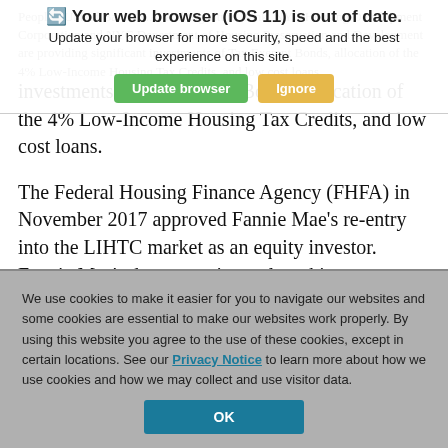🔄 Your web browser (iOS 11) is out of date. Update your browser for more security, speed and the best experience on this site. [Update browser] [Ignore]
People's United Bank, N.A. and Signature Bank, NYC Housing Development Corporation and NYC Department of Housing Preservation and Development are providing significant investments of Tax Exempt Bonds, allocation of the 4% Low-Income Housing Tax Credits, and low cost loans.
The Federal Housing Finance Agency (FHFA) in November 2017 approved Fannie Mae's re-entry into the LIHTC market as an equity investor. Fannie Mae's deep experience, long history, strong leadership, and partnership approach in the LIHTC market position them as one of our priority lending partners.
We use cookies to make it easier for you to navigate our websites and some cookies are essential to make our websites work properly. By using this website you agree to the use of these cookies, except in certain locations. See our Privacy Notice to learn more about how we use cookies and how we may collect and use visitor data.